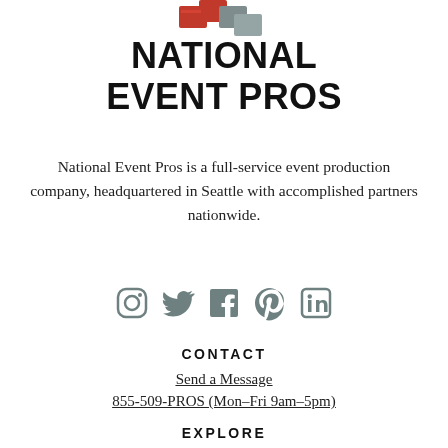[Figure (logo): National Event Pros logo — red and grey overlapping rectangular shapes at top]
NATIONAL EVENT PROS
National Event Pros is a full-service event production company, headquartered in Seattle with accomplished partners nationwide.
[Figure (other): Social media icons: Instagram, Twitter, Facebook, Pinterest, LinkedIn]
CONTACT
Send a Message
855-509-PROS (Mon–Fri 9am–5pm)
EXPLORE